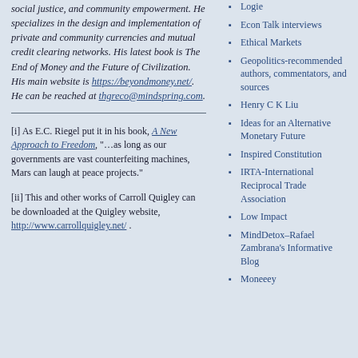social justice, and community empowerment. He specializes in the design and implementation of private and community currencies and mutual credit clearing networks. His latest book is The End of Money and the Future of Civilization. His main website is https://beyondmoney.net/. He can be reached at thgreco@mindspring.com.
[i] As E.C. Riegel put it in his book, A New Approach to Freedom, “…as long as our governments are vast counterfeiting machines, Mars can laugh at peace projects.”
[ii] This and other works of Carroll Quigley can be downloaded at the Quigley website, http://www.carrollquigley.net/ .
Logie
Econ Talk interviews
Ethical Markets
Geopolitics-recommended authors, commentators, and sources
Henry C K Liu
Ideas for an Alternative Monetary Future
Inspired Constitution
IRTA-International Reciprocal Trade Association
Low Impact
MindDetox–Rafael Zambrana’s Informative Blog
Moneeey